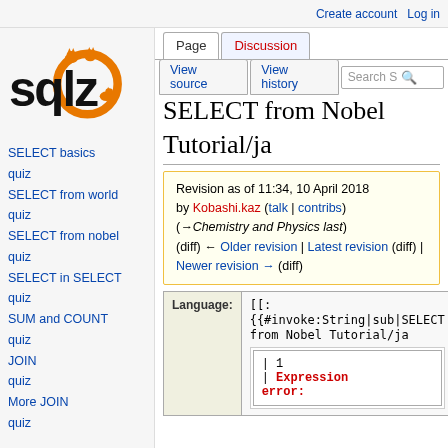Create account  Log in
[Figure (logo): SQLZOO logo with orange animal mascots and circular orange logo graphic]
SELECT basics
quiz
SELECT from world
quiz
SELECT from nobel
quiz
SELECT in SELECT
quiz
SUM and COUNT
quiz
JOIN
quiz
More JOIN
quiz
SELECT from Nobel Tutorial/ja
Revision as of 11:34, 10 April 2018 by Kobashi.kaz (talk | contribs) (→Chemistry and Physics last) (diff) ← Older revision | Latest revision (diff) | Newer revision → (diff)
| Language: |
| --- |
| [[:  {{#invoke:String|sub|SELECT from Nobel Tutorial/ja | | 1
|Expression error: |